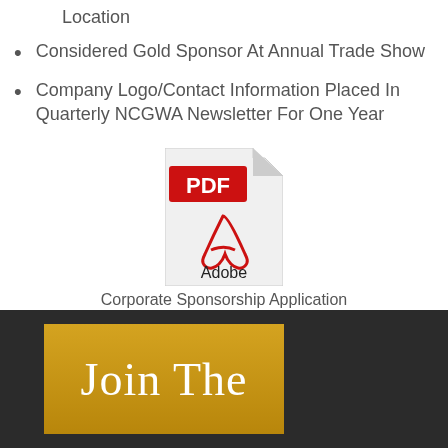Location
Considered Gold Sponsor At Annual Trade Show
Company Logo/Contact Information Placed In Quarterly NCGWA Newsletter For One Year
[Figure (illustration): Adobe PDF file icon with red PDF label and Adobe Acrobat logo]
Corporate Sponsorship Application
Join The